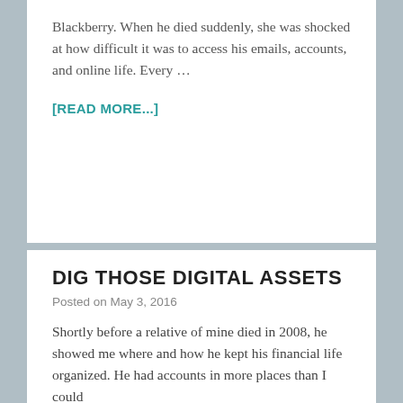Blackberry. When he died suddenly, she was shocked at how difficult it was to access his emails, accounts, and online life. Every …
[READ MORE...]
DIG THOSE DIGITAL ASSETS
Posted on May 3, 2016
Shortly before a relative of mine died in 2008, he showed me where and how he kept his financial life organized. He had accounts in more places than I could